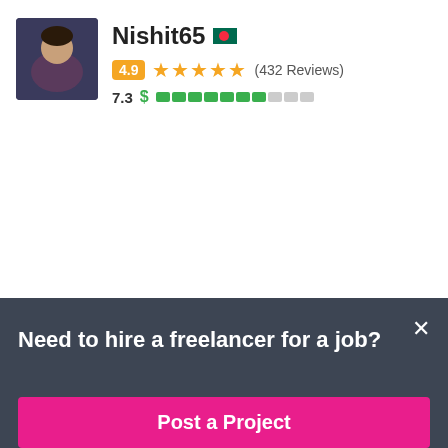Nishit65 🇧🇩 — 4.9 ★★★★★ (432 Reviews) — 7.3 $ [score bar]
SeoExpertAlisha 🇮🇳 — $2 USD / hour — 5.0 ★★★★★ (159 Reviews) — 7.2 $ [score bar]
Need to hire a freelancer for a job?
Post a Project